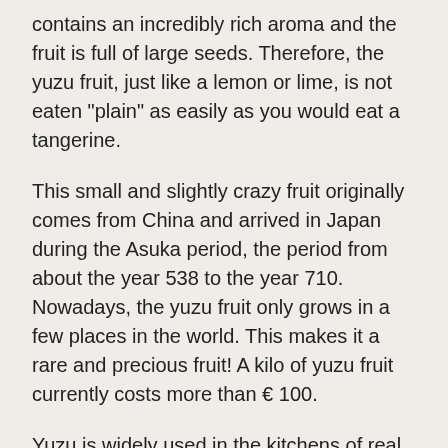contains an incredibly rich aroma and the fruit is full of large seeds. Therefore, the yuzu fruit, just like a lemon or lime, is not eaten "plain" as easily as you would eat a tangerine.
This small and slightly crazy fruit originally comes from China and arrived in Japan during the Asuka period, the period from about the year 538 to the year 710. Nowadays, the yuzu fruit only grows in a few places in the world. This makes it a rare and precious fruit! A kilo of yuzu fruit currently costs more than € 100.
Yuzu is widely used in the kitchens of real gourmets! The chefs of the most luxurious restaurants like to use the juice of this posh fruit in their dishes.
This tea can be prepared in various ways. Prepare the tea in the classic way, with low mineral content water at 70°C to a maximum of 75°C, 2 grams of tea per cup and 10